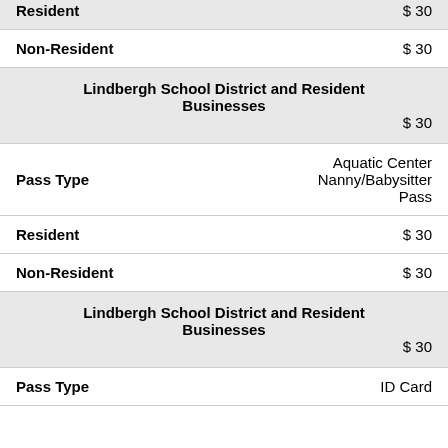| Resident | $ 30 |
| Non-Resident | $ 30 |
| Lindbergh School District and Resident Businesses | $ 30 |
| Pass Type | Aquatic Center Nanny/Babysitter Pass |
| Resident | $ 30 |
| Non-Resident | $ 30 |
| Lindbergh School District and Resident Businesses | $ 30 |
| Pass Type | ID Card |